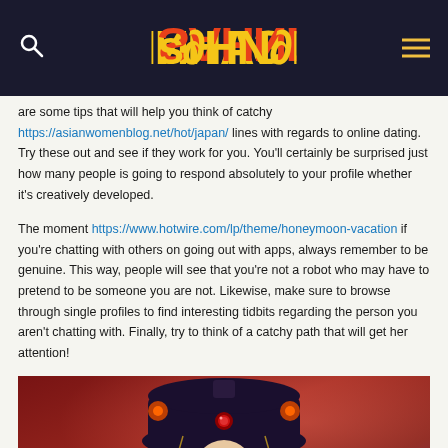SAHNADA (logo header with search and hamburger menu)
are some tips that will help you think of catchy https://asianwomenblog.net/hot/japan/ lines with regards to online dating. Try these out and see if they work for you. You'll certainly be surprised just how many people is going to respond absolutely to your profile whether it's creatively developed.
The moment https://www.hotwire.com/lp/theme/honeymoon-vacation if you're chatting with others on going out with apps, always remember to be genuine. This way, people will see that you're not a robot who may have to pretend to be someone you are not. Likewise, make sure to browse through single profiles to find interesting tidbits regarding the person you aren't chatting with. Finally, try to think of a catchy path that will get her attention!
[Figure (photo): Photo of a person wearing traditional East Asian ceremonial headdress (dark hat with red jewel ornament) against a red background]